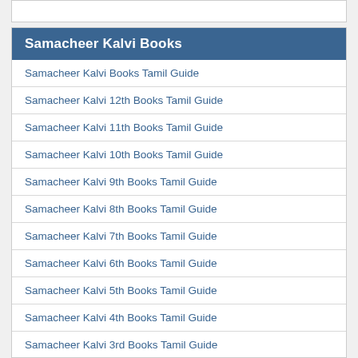Samacheer Kalvi Books
Samacheer Kalvi Books Tamil Guide
Samacheer Kalvi 12th Books Tamil Guide
Samacheer Kalvi 11th Books Tamil Guide
Samacheer Kalvi 10th Books Tamil Guide
Samacheer Kalvi 9th Books Tamil Guide
Samacheer Kalvi 8th Books Tamil Guide
Samacheer Kalvi 7th Books Tamil Guide
Samacheer Kalvi 6th Books Tamil Guide
Samacheer Kalvi 5th Books Tamil Guide
Samacheer Kalvi 4th Books Tamil Guide
Samacheer Kalvi 3rd Books Tamil Guide
Samacheer Kalvi 2nd Books Tamil Guide
Samacheer Kalvi 1st Books Tamil Guide